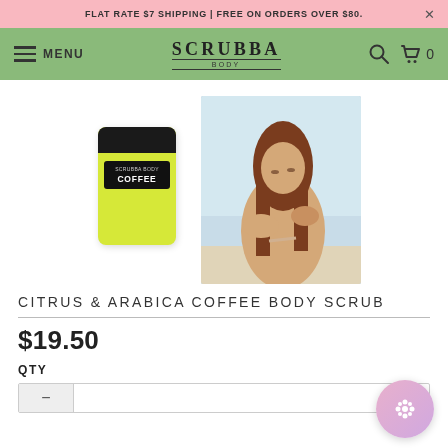FLAT RATE $7 SHIPPING | FREE ON ORDERS OVER $80.
SCRUBBA BODY — MENU
[Figure (photo): Product shot of a yellow packaged Citrus & Arabica Coffee Body Scrub alongside a lifestyle photo of a woman at the beach touching her shoulder]
CITRUS & ARABICA COFFEE BODY SCRUB
$19.50
QTY